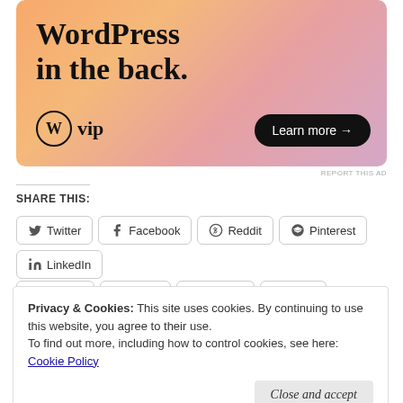[Figure (illustration): WordPress VIP advertisement banner with colorful gradient background (orange, peach, pink, purple). Large text reads 'WordPress in the back.' with WordPress VIP logo on the left and 'Learn more →' button on the right.]
SHARE THIS:
Twitter | Facebook | Reddit | Pinterest | LinkedIn | Tumblr | Email | Pocket | Print
Privacy & Cookies: This site uses cookies. By continuing to use this website, you agree to their use.
To find out more, including how to control cookies, see here: Cookie Policy
Close and accept